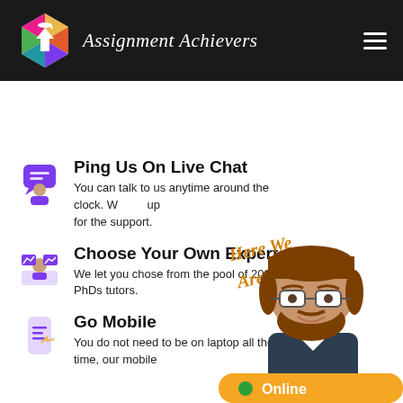[Figure (logo): Assignment Achievers logo with colorful hexagon and script text]
Ping Us On Live Chat
You can talk to us anytime around the clock. We are up for the support.
[Figure (illustration): Purple live chat support icon with person at desk]
Choose Your Own Expert
We let you chose from the pool of 2000 PhDs tutors.
[Figure (illustration): Purple expert/analytics icon with person at desk with monitors]
Go Mobile
You do not need to be on laptop all the time, our mobile
[Figure (illustration): Cartoon tutor character with glasses and beard, overlaid with 'Here We Are!!' script and Online chat button]